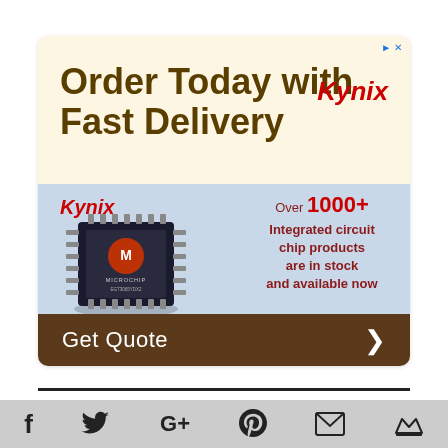[Figure (infographic): Kynix advertisement banner with headline 'Order Today with Fast Delivery', Kynix logo in red italic, a Microchip integrated circuit chip image on a blue panel, text 'Over 1000+ Integrated circuit chip products are in stock and available now', and a dark brown 'Get Quote' call-to-action bar with a right arrow.]
[Figure (infographic): Social media footer bar with icons for Facebook, Twitter, Google+, Pinterest, Email, and a crown/bookmark icon on a gray background.]